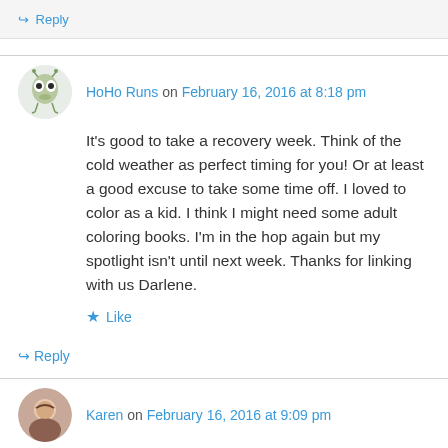↳ Reply
HoHo Runs on February 16, 2016 at 8:18 pm
It's good to take a recovery week. Think of the cold weather as perfect timing for you! Or at least a good excuse to take some time off. I loved to color as a kid. I think I might need some adult coloring books. I'm in the hop again but my spotlight isn't until next week. Thanks for linking with us Darlene.
★ Like
↳ Reply
Karen on February 16, 2016 at 9:09 pm